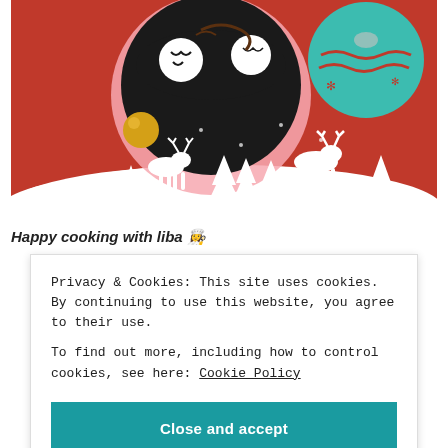[Figure (photo): Christmas-themed cake decoration image with a black chocolate cake with white swirl decorations, a teal ornament ball, white reindeer and pine tree silhouettes on a red background with snow at the bottom]
Happy cooking with liba 👩‍🍳
Privacy & Cookies: This site uses cookies. By continuing to use this website, you agree to their use.
To find out more, including how to control cookies, see here: Cookie Policy
Close and accept